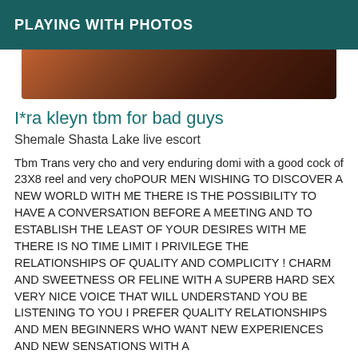PLAYING WITH PHOTOS
[Figure (photo): Partial photo showing warm-toned reddish-brown blurred image, cropped at top]
I*ra kleyn tbm for bad guys
Shemale Shasta Lake live escort
Tbm Trans very cho and very enduring domi with a good cock of 23X8 reel and very choPOUR MEN WISHING TO DISCOVER A NEW WORLD WITH ME THERE IS THE POSSIBILITY TO HAVE A CONVERSATION BEFORE A MEETING AND TO ESTABLISH THE LEAST OF YOUR DESIRES WITH ME THERE IS NO TIME LIMIT I PRIVILEGE THE RELATIONSHIPS OF QUALITY AND COMPLICITY ! CHARM AND SWEETNESS OR FELINE WITH A SUPERB HARD SEX VERY NICE VOICE THAT WILL UNDERSTAND YOU BE LISTENING TO YOU I PREFER QUALITY RELATIONSHIPS AND MEN BEGINNERS WHO WANT NEW EXPERIENCES AND NEW SENSATIONS WITH A